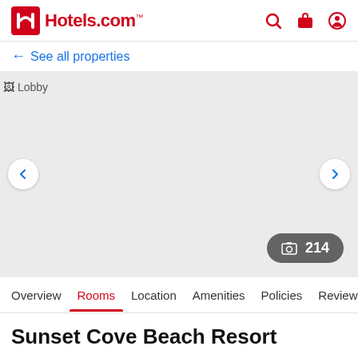Hotels.com
← See all properties
[Figure (photo): Hotel lobby image placeholder with navigation arrows and photo count badge showing 214 photos]
Overview | Rooms | Location | Amenities | Policies | Reviews
Sunset Cove Beach Resort